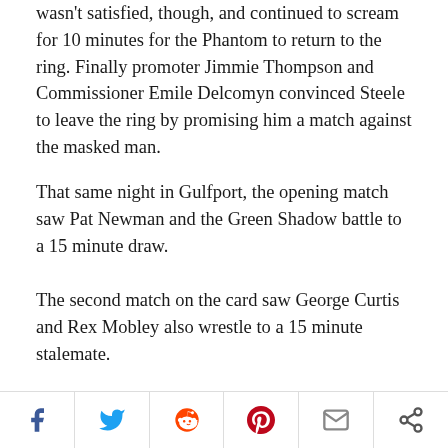wasn't satisfied, though, and continued to scream for 10 minutes for the Phantom to return to the ring. Finally promoter Jimmie Thompson and Commissioner Emile Delcomyn convinced Steele to leave the ring by promising him a match against the masked man.
That same night in Gulfport, the opening match saw Pat Newman and the Green Shadow battle to a 15 minute draw.
The second match on the card saw George Curtis and Rex Mobley also wrestle to a 15 minute stalemate.
The main event in Gulfport was a tag team match with Curtis & Newman taking on Mobley & the Green Shadow. The Shadow won the first fall for his team when he forced Curtis to submit to an armlock after 16 minutes of action. Curtis hit the masked man with a series of dropkicks and pinned him in 7 minutes to win the second fall and even the score. The
Social share bar: Facebook, Twitter, Reddit, Pinterest, Email, Share